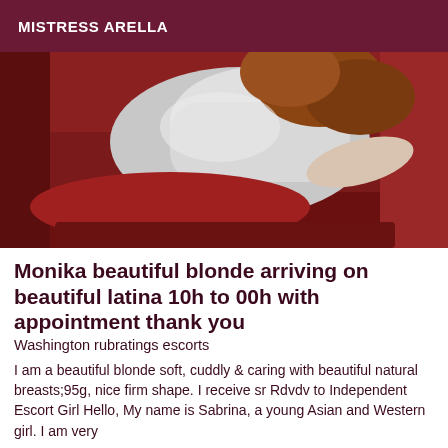MISTRESS ARELLA
[Figure (photo): Woman in white sleeveless top lying on a red couch/sofa, viewed from behind, with reddish-brown hair visible]
Monika beautiful blonde arriving on beautiful latina 10h to 00h with appointment thank you
Washington rubratings escorts
I am a beautiful blonde soft, cuddly & caring with beautiful natural breasts;95g, nice firm shape. I receive sr Rdvdv to Independent Escort Girl Hello, My name is Sabrina, a young Asian and Western girl. I am very